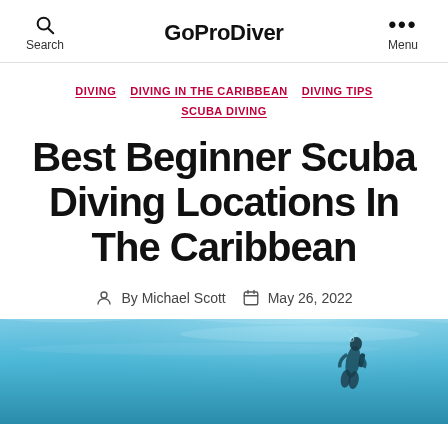Search | GoProDiver | Menu
DIVING  DIVING IN THE CARIBBEAN  DIVING TIPS  SCUBA DIVING
Best Beginner Scuba Diving Locations In The Caribbean
By Michael Scott  May 26, 2022
[Figure (photo): Underwater photo showing a scuba diver in turquoise/blue Caribbean water, viewed from below or side angle. A diver silhouette is visible in the upper right area of the image with sunlight filtering through the water.]